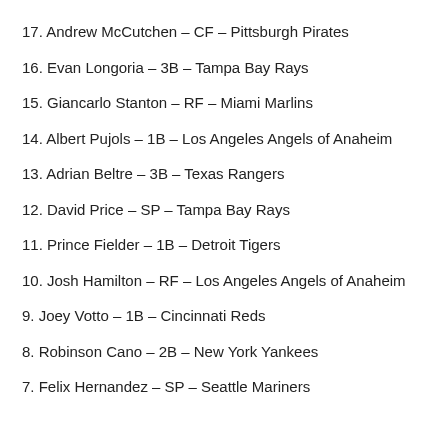17. Andrew McCutchen – CF – Pittsburgh Pirates
16. Evan Longoria – 3B – Tampa Bay Rays
15. Giancarlo Stanton – RF – Miami Marlins
14. Albert Pujols – 1B – Los Angeles Angels of Anaheim
13. Adrian Beltre – 3B – Texas Rangers
12. David Price – SP – Tampa Bay Rays
11. Prince Fielder – 1B – Detroit Tigers
10. Josh Hamilton – RF – Los Angeles Angels of Anaheim
9. Joey Votto – 1B – Cincinnati Reds
8. Robinson Cano – 2B – New York Yankees
7. Felix Hernandez – SP – Seattle Mariners